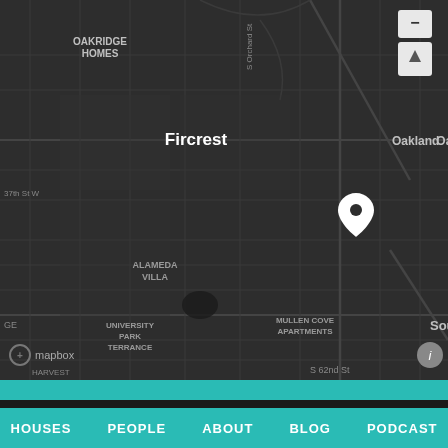[Figure (map): Dark-themed Mapbox street map showing South Tacoma, WA area. Neighborhoods visible include Fircrest, Oakland, Alameda Villa, University Park Terrace, Mullen Cove Apartments, South Tacoma. Streets labeled include S Orchard St, S Tacoma Way, S Pine St, S Steele St, 37th St W, S 43rd St, S 45th St, S 47th St, S 50th St, S 60th St, S 62nd St, S 43rd St, S 46th St, S 49th St, S 52nd, S 54th, Tacoma Mall Blvd. A white location pin marker is placed in the Oakland/Alameda area. Zoom controls (+/-) in upper right. Mapbox logo in lower left. Info button in lower right.]
HOUSES   PEOPLE   ABOUT   BLOG   PODCAST